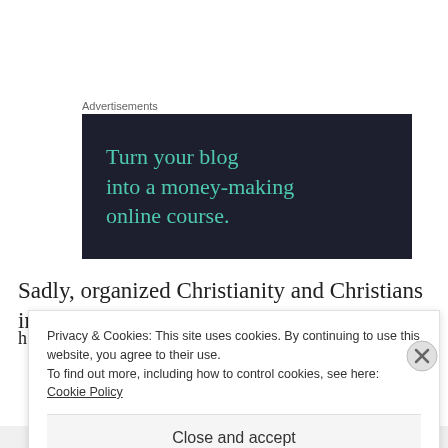Advertisements
[Figure (illustration): Dark navy advertisement banner with teal text reading 'Turn your blog into a money-making online course.']
Sadly, organized Christianity and Christians in general
h...
Privacy & Cookies: This site uses cookies. By continuing to use this website, you agree to their use. To find out more, including how to control cookies, see here: Cookie Policy
Close and accept